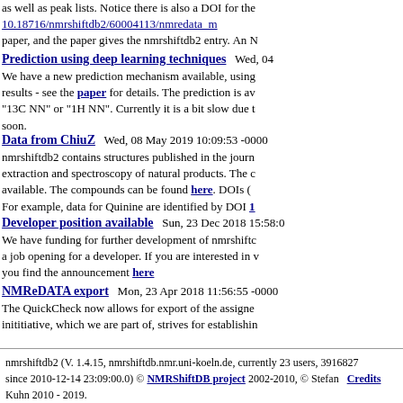as well as peak lists. Notice there is also a DOI for the nmredata entry: 10.18716/nmrshiftdb2/60004113/nmredata_m... paper, and the paper gives the nmrshiftdb2 entry. An N...
Prediction using deep learning techniques   Wed, 04...
We have a new prediction mechanism available, using... results - see the paper for details. The prediction is av... "13C NN" or "1H NN". Currently it is a bit slow due t... soon.
Data from ChiuZ    Wed, 08 May 2019 10:09:53 -0000
nmrshiftdb2 contains structures published in the journ... extraction and spectroscopy of natural products. The c... available. The compounds can be found here. DOIs (... For example, data for Quinine are identified by DOI 1...
Developer position available    Sun, 23 Dec 2018 15:58:0...
We have funding for further development of nmrshiftc... a job opening for a developer. If you are interested in... you find the announcement here
NMReDATA export    Mon, 23 Apr 2018 11:56:55 -0000
The QuickCheck now allows for export of the assigne... inititiative, which we are part of, strives for establishin...
nmrshiftdb2 (V. 1.4.15, nmrshiftdb.nmr.uni-koeln.de, currently 23 users, 3916827 since 2010-12-14 23:09:00.0) © NMRShiftDB project 2002-2010, © Stefan Kuhn 2010 - 2019.   Credits